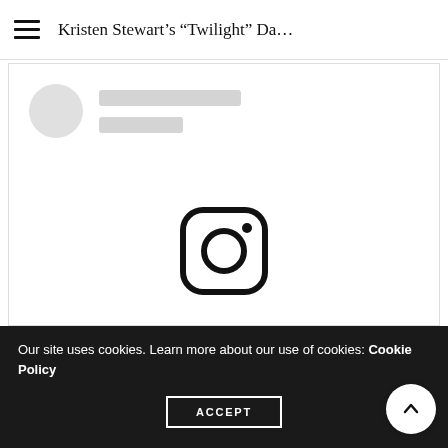Kristen Stewart’s “Twilight” Da...
[Figure (screenshot): Loading skeleton placeholder with circular avatar and two grey skeleton lines for name and subtitle, inside a white content card area]
[Figure (logo): Instagram logo icon (rounded square with camera outline and dot), black on white background]
Our site uses cookies. Learn more about our use of cookies: Cookie Policy
ACCEPT